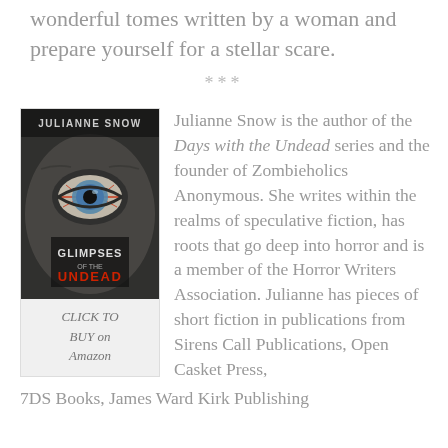wonderful tomes written by a woman and prepare yourself for a stellar scare.
***
[Figure (illustration): Book cover for 'Glimpses of the Undead' by Julianne Snow, showing a zombie eye close-up. Below the cover is italicized text: CLICK TO BUY on Amazon]
Julianne Snow is the author of the Days with the Undead series and the founder of Zombieholics Anonymous. She writes within the realms of speculative fiction, has roots that go deep into horror and is a member of the Horror Writers Association. Julianne has pieces of short fiction in publications from Sirens Call Publications, Open Casket Press, 7DS Books, James Ward Kirk Publishing
CLICK TO BUY on Amazon